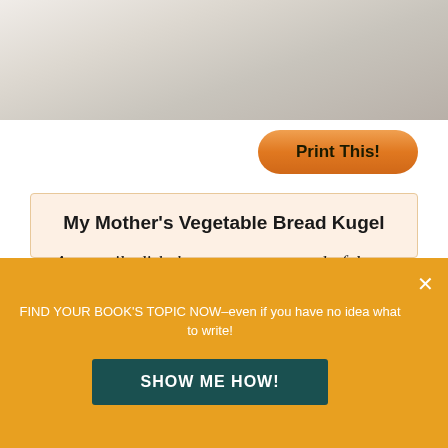[Figure (photo): Close-up photo of a dish on a white plate, showing food (bread kugel), partially visible at top of page]
[Figure (other): Orange rounded button labeled 'Print This!']
My Mother’s Vegetable Bread Kugel
A versatile dish that serves as a wonderful side dish, or can be wrapped and toted along for lunch the next day, eaten at room temperature.
FIND YOUR BOOK’S TOPIC NOW–even if you have no idea what to write!
[Figure (other): Dark teal button labeled 'SHOW ME HOW!']